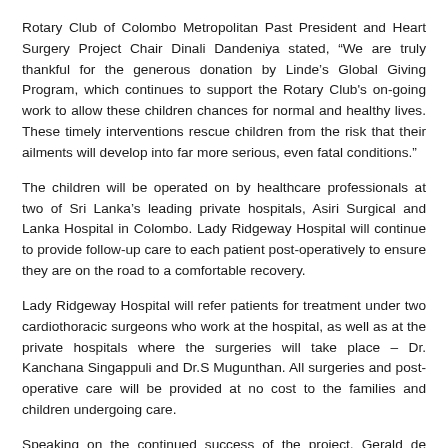Rotary Club of Colombo Metropolitan Past President and Heart Surgery Project Chair Dinali Dandeniya stated, “We are truly thankful for the generous donation by Linde’s Global Giving Program, which continues to support the Rotary Club's on-going work to allow these children chances for normal and healthy lives. These timely interventions rescue children from the risk that their ailments will develop into far more serious, even fatal conditions.”
The children will be operated on by healthcare professionals at two of Sri Lanka’s leading private hospitals, Asiri Surgical and Lanka Hospital in Colombo. Lady Ridgeway Hospital will continue to provide follow-up care to each patient post-operatively to ensure they are on the road to a comfortable recovery.
Lady Ridgeway Hospital will refer patients for treatment under two cardiothoracic surgeons who work at the hospital, as well as at the private hospitals where the surgeries will take place – Dr. Kanchana Singappuli and Dr.S Mugunthan. All surgeries and post-operative care will be provided at no cost to the families and children undergoing care.
Speaking on the continued success of the project, Gerald de Seram, President of Rotary Club of Colombo Metropolitan had this to say: “It is truly gratifying to be able to see the unyielding efforts…